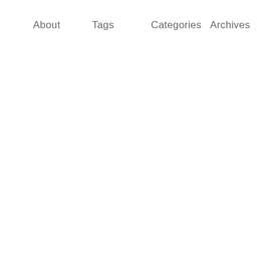About    Tags    Categories    Archives